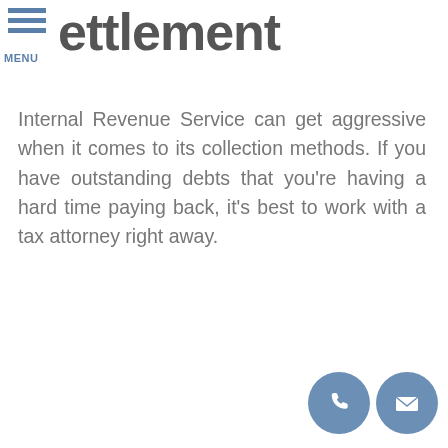≡ settlement | MENU
ettlement
Internal Revenue Service can get aggressive when it comes to its collection methods. If you have outstanding debts that you're having a hard time paying back, it's best to work with a tax attorney right away.
[Figure (illustration): Two circular icons at bottom right: a phone handset icon and an envelope/mail icon, both in steel blue circles.]